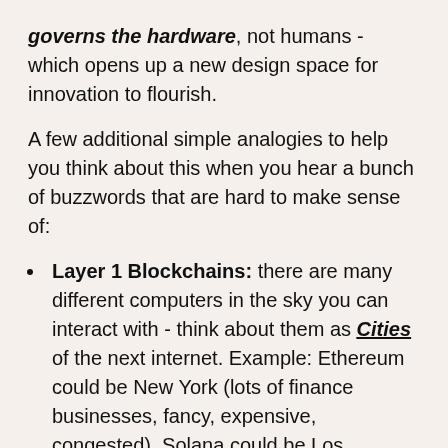governs the hardware, not humans - which opens up a new design space for innovation to flourish.
A few additional simple analogies to help you think about this when you hear a bunch of buzzwords that are hard to make sense of:
Layer 1 Blockchains: there are many different computers in the sky you can interact with - think about them as Cities of the next internet. Example: Ethereum could be New York (lots of finance businesses, fancy, expensive, congested). Solana could be Los Angeles (lots of art, big, cheaper, but less decentralized than NYC)
Layer 2s & Rollups: Skyscraper technology in these cities of the next internet that help run